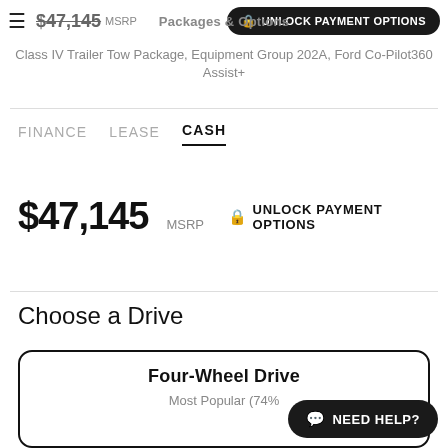Packages & Options
$47,145 MSRP — Class IV Trailer Tow Package, Equipment Group 202A, Ford Co-Pilot360 Assist+
FINANCE   LEASE   CASH
$47,145 MSRP   🔒 UNLOCK PAYMENT OPTIONS
Choose a Drive
Four-Wheel Drive
Most Popular (74%)